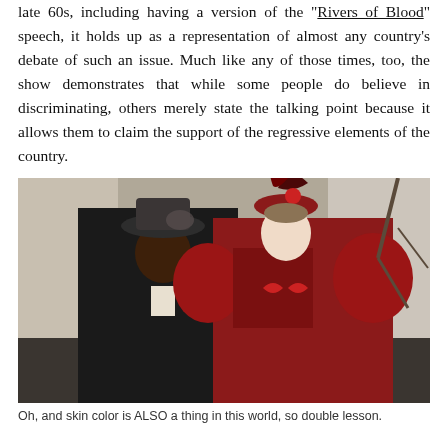late 60s, including having a version of the "Rivers of Blood" speech, it holds up as a representation of almost any country's debate of such an issue. Much like any of those times, too, the show demonstrates that while some people do believe in discriminating, others merely state the talking point because it allows them to claim the support of the regressive elements of the country.
[Figure (photo): Two people in Victorian-era costumes standing outdoors. On the left, a Black man wearing a dark pinstripe suit, bow tie, and a wide-brimmed hat with decorative netting. On the right, a white woman wearing an elaborate red Victorian dress with puffed sleeves and a red feathered hat.]
Oh, and skin color is ALSO a thing in this world, so double lesson.